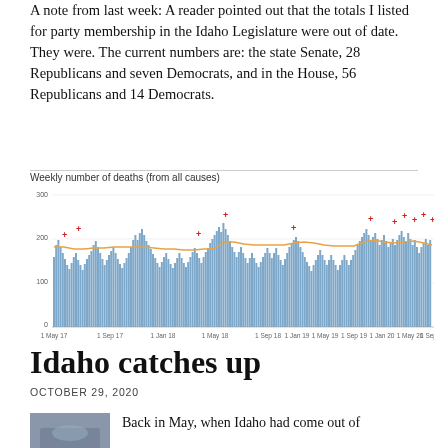A note from last week: A reader pointed out that the totals I listed for party membership in the Idaho Legislature were out of date. They were. The current numbers are: the state Senate, 28 Republicans and seven Democrats, and in the House, 56 Republicans and 14 Democrats.
[Figure (bar-chart): Bar chart of weekly deaths from all causes in Idaho from mid-2017 to late 2020, with an orange trend line and red plus markers indicating excess deaths above the expected line. Bars are blue, ranging roughly 150–350, with y-axis from 0 to 300+.]
Idaho catches up
OCTOBER 29, 2020
Back in May, when Idaho had come out of